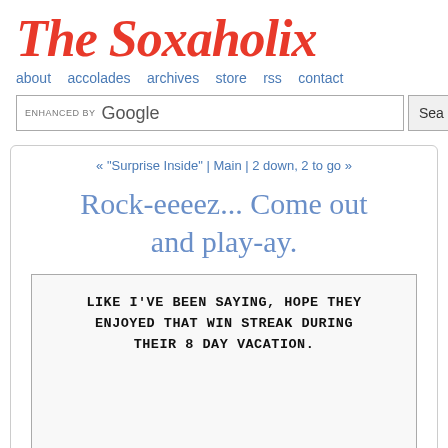The Soxaholix
about  accolades  archives  store  rss  contact
[Figure (screenshot): Google search bar with 'ENHANCED BY Google' label and a Search button on the right]
« "Surprise Inside" | Main | 2 down, 2 to go »
Rock-eeeez... Come out and play-ay.
LIKE I'VE BEEN SAYING, HOPE THEY ENJOYED THAT WIN STREAK DURING THEIR 8 DAY VACATION.